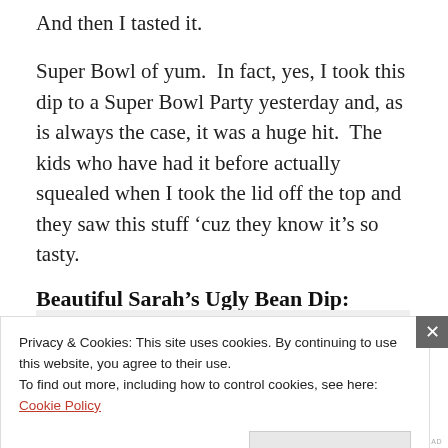And then I tasted it.
Super Bowl of yum.  In fact, yes, I took this dip to a Super Bowl Party yesterday and, as is always the case, it was a huge hit.  The kids who have had it before actually squealed when I took the lid off the top and they saw this stuff ‘cuz they know it’s so tasty.
Beautiful Sarah’s Ugly Bean Dip:
[Figure (screenshot): Subscription/newsletter promotional overlay showing bold text 'And free.' with circular avatar photos below including a blue circle with a plus icon]
Privacy & Cookies: This site uses cookies. By continuing to use this website, you agree to their use.
To find out more, including how to control cookies, see here: Cookie Policy
Close and accept